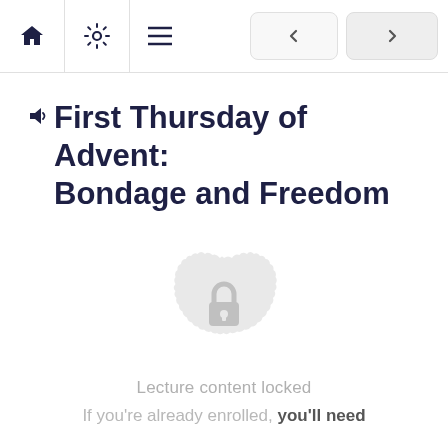Home | Settings | Menu | < | >
First Thursday of Advent: Bondage and Freedom
[Figure (illustration): Locked badge icon — a circular badge shape with a padlock icon in the center, rendered in light gray]
Lecture content locked
If you're already enrolled, you'll need